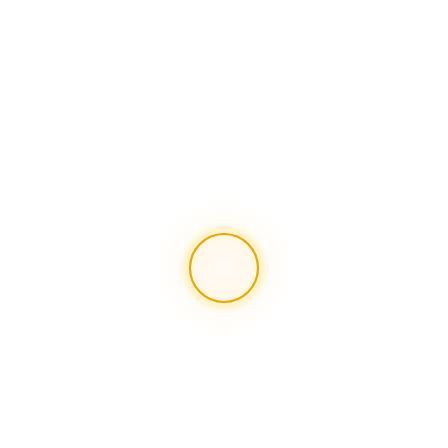[Figure (other): A small golden/yellow circle with a thin gold ring outline centered slightly below the middle of the page, surrounded by a soft white-to-pale-yellow radial glow/halo effect on a white background.]